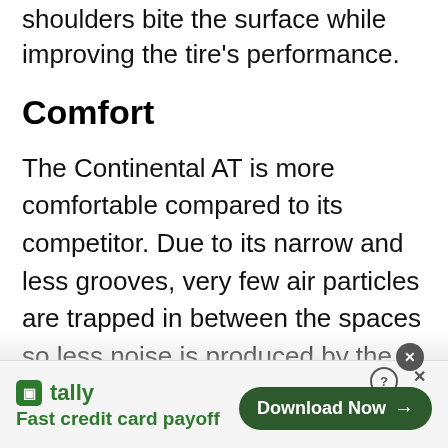shoulders bite the surface while improving the tire's performance.
Comfort
The Continental AT is more comfortable compared to its competitor. Due to its narrow and less grooves, very few air particles are trapped in between the spaces so less noise is produced by the tire. the ride is comfortable as no or
[Figure (screenshot): Advertisement banner for Tally app — 'Fast credit card payoff' with a 'Download Now' button]